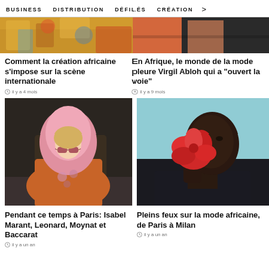BUSINESS   DISTRIBUTION   DÉFILÉS   CRÉATION   >
[Figure (photo): Top portion of a fashion photo showing African prints]
[Figure (photo): Top portion of a fashion editorial with orange color]
Comment la création africaine s'impose sur la scène internationale
il y a 4 mois
En Afrique, le monde de la mode pleure Virgil Abloh qui a "ouvert la voie"
il y a 9 mois
[Figure (photo): Model in pink hooded outfit with sunglasses on runway]
[Figure (photo): African woman holding a red flower near her face]
Pendant ce temps à Paris: Isabel Marant, Leonard, Moynat et Baccarat
il y a un an
Pleins feux sur la mode africaine, de Paris à Milan
il y a un an